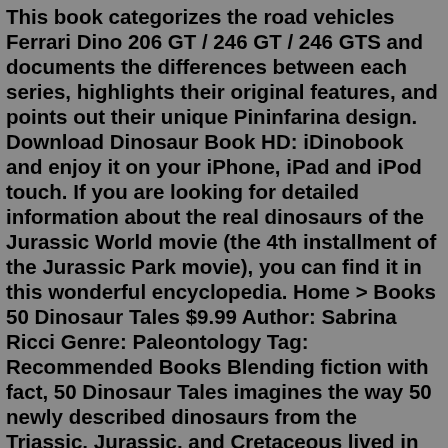This book categorizes the road vehicles Ferrari Dino 206 GT / 246 GT / 246 GTS and documents the differences between each series, highlights their original features, and points out their unique Pininfarina design. Download Dinosaur Book HD: iDinobook and enjoy it on your iPhone, iPad and iPod touch. If you are looking for detailed information about the real dinosaurs of the Jurassic World movie (the 4th installment of the Jurassic Park movie), you can find it in this wonderful encyclopedia. Home > Books 50 Dinosaur Tales $9.99 Author: Sabrina Ricci Genre: Paleontology Tag: Recommended Books Blending fiction with fact, 50 Dinosaur Tales imagines the way 50 newly described dinosaurs from the Triassic, Jurassic, and Cretaceous lived in their natural habitats. More info → Buy This Book OnlineAvailable now for our patrons!Everywhere else (Amazon, Apple, Google, and...Tiny T. Rex and the Impossible Hug (Dinosaur Books, Dinosaur Books for Kids, Dinosaur Picture Books, Read Aloud Family Books, Books for Young Children) by Jonathan